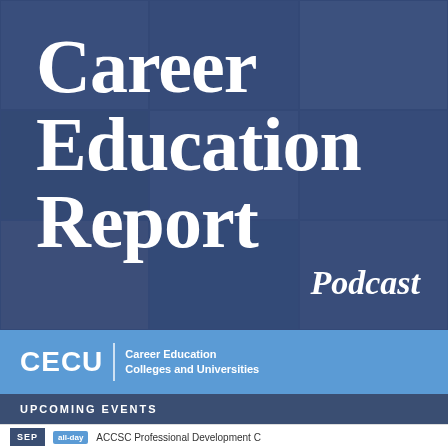[Figure (illustration): Career Education Report Podcast banner image with dark blue grid of vocational/educational photos overlaid with large white serif title text]
Career Education Report
Podcast
[Figure (logo): CECU Career Education Colleges and Universities logo in white on blue bar]
UPCOMING EVENTS
SEP  all-day  ACCSCSC Professional Development C